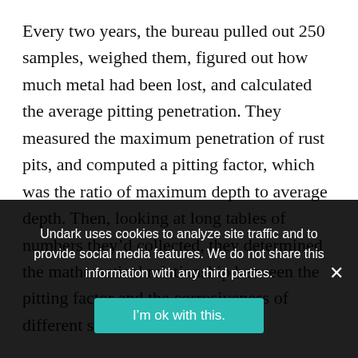Every two years, the bureau pulled out 250 samples, weighed them, figured out how much metal had been lost, and calculated the average pitting penetration. They measured the maximum penetration of rust pits, and computed a pitting factor, which was the ratio of maximum depth to average depth. Then, looking at long tables of numbers they'd collected, they determined the mathematical relationship between the pitting factor and the corrosiveness of different soils.

By 1933, some things were clear to Logan, who'd continued with the research. A ferrous pipe buried in a
Undark uses cookies to analyze site traffic and to provide social media features. We do not share this information with any third parties.
I'm ok with this.